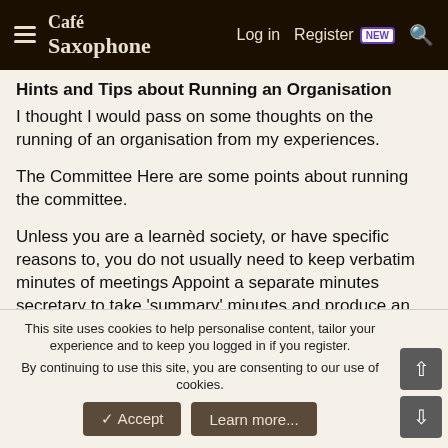Café Saxophone — Log in | Register NEW | Search
Hints and Tips about Running an Organisation
I thought I would pass on some thoughts on the running of an organisation from my experiences.
The Committee Here are some points about running the committee.
Unless you are a learnèd society, or have specific reasons to, you do not usually need to keep verbatim minutes of meetings Appoint a separate minutes secretary to take 'summary' minutes and produce an 'action point list' with names and dates attached Produce an agenda for committee meetings and stick to it. I am pretty ruthless at stopping off-topic discussion in committees
This site uses cookies to help personalise content, tailor your experience and to keep you logged in if you register.
By continuing to use this site, you are consenting to our use of cookies.